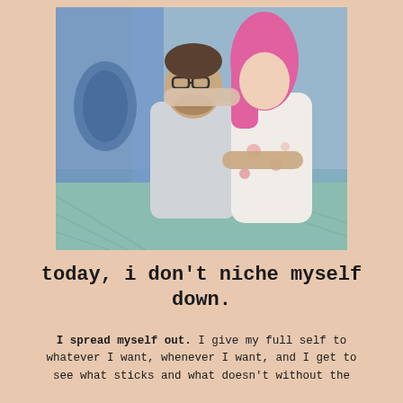[Figure (photo): A couple embracing outdoors. A man with glasses and a beard wearing a light gray polo shirt hugs a woman with bright pink hair wearing a white dress with floral print. Background shows a blue building and a teal/gray patterned ground.]
today, i don't niche myself down.
I spread myself out. I give my full self to whatever I want, whenever I want, and I get to see what sticks and what doesn't without the